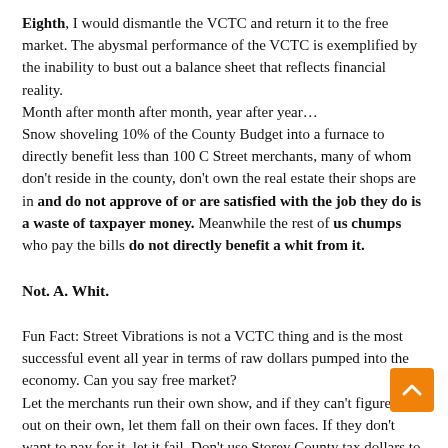Eighth, I would dismantle the VCTC and return it to the free market. The abysmal performance of the VCTC is exemplified by the inability to bust out a balance sheet that reflects financial reality.
Month after month after month, year after year…
Snow shoveling 10% of the County Budget into a furnace to directly benefit less than 100 C Street merchants, many of whom don't reside in the county, don't own the real estate their shops are in and do not approve of or are satisfied with the job they do is a waste of taxpayer money. Meanwhile the rest of us chumps who pay the bills do not directly benefit a whit from it.
Not. A. Whit.
Fun Fact: Street Vibrations is not a VCTC thing and is the most successful event all year in terms of raw dollars pumped into the economy. Can you say free market?
Let the merchants run their own show, and if they can't figure it out on their own, let them fall on their own faces. If they don't want to pay for it, let it fail. Don't use Storey County tax dollars to prop up a boondoggle.